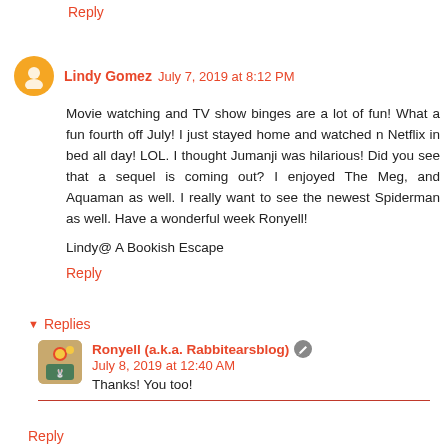Reply
Lindy Gomez  July 7, 2019 at 8:12 PM
Movie watching and TV show binges are a lot of fun! What a fun fourth off July! I just stayed home and watched n Netflix in bed all day! LOL. I thought Jumanji was hilarious! Did you see that a sequel is coming out? I enjoyed The Meg, and Aquaman as well. I really want to see the newest Spiderman as well. Have a wonderful week Ronyell!
Lindy@ A Bookish Escape
Reply
Replies
Ronyell (a.k.a. Rabbitearsblog)  July 8, 2019 at 12:40 AM
Thanks! You too!
Reply